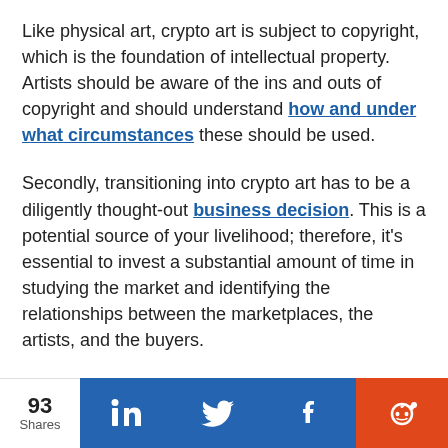Like physical art, crypto art is subject to copyright, which is the foundation of intellectual property. Artists should be aware of the ins and outs of copyright and should understand how and under what circumstances these should be used.
Secondly, transitioning into crypto art has to be a diligently thought-out business decision. This is a potential source of your livelihood; therefore, it's essential to invest a substantial amount of time in studying the market and identifying the relationships between the marketplaces, the artists, and the buyers.
Further, it's crucial to understand how the
93 Shares | LinkedIn | Twitter | Facebook | Reddit